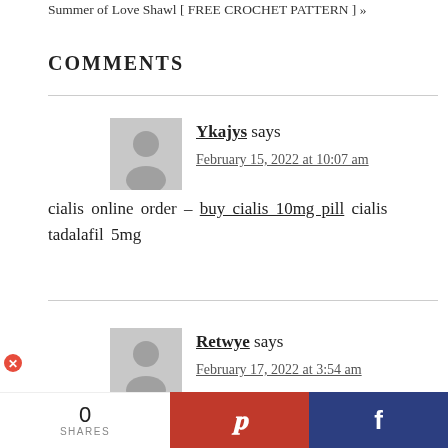Summer of Love Shawl [ FREE CROCHET PATTERN ] »
COMMENTS
Ykajys says February 15, 2022 at 10:07 am
cialis online order – buy cialis 10mg pill cialis tadalafil 5mg
Retwye says February 17, 2022 at 3:54 am
0 SHARES